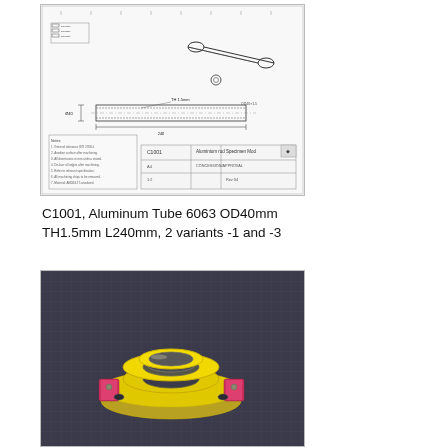[Figure (engineering-diagram): Engineering drawing of an aluminum tube (C1001), showing isometric view and dimensioned side/cross-section views with title block indicating C1001, Aluminum Tube 6063, A4 sheet.]
C1001, Aluminum Tube 6063 OD40mm TH1.5mm L240mm, 2 variants -1 and -3
[Figure (engineering-diagram): 3D rendering/CAD screenshot of a ring/clamp bracket part (likely a tube clamp) shown in yellow and pink on a dark grid background, viewed from an isometric angle.]